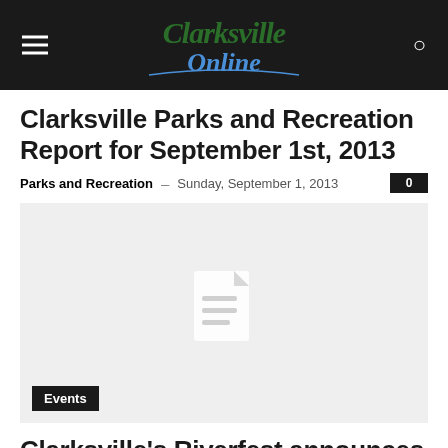Clarksville Online
Clarksville Parks and Recreation Report for September 1st, 2013
Parks and Recreation – Sunday, September 1, 2013  0
[Figure (illustration): Grey placeholder image with a document/file icon in the center, Events badge at bottom left]
Clarksville's Riverfest announces 2013 Festival Headliners